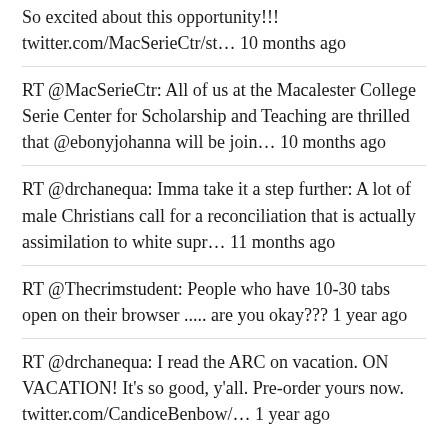So excited about this opportunity!!! twitter.com/MacSerieCtr/st… 10 months ago
RT @MacSerieCtr: All of us at the Macalester College Serie Center for Scholarship and Teaching are thrilled that @ebonyjohanna will be join… 10 months ago
RT @drchanequa: Imma take it a step further: A lot of male Christians call for a reconciliation that is actually assimilation to white supr… 11 months ago
RT @Thecrimstudent: People who have 10-30 tabs open on their browser ..... are you okay??? 1 year ago
RT @drchanequa: I read the ARC on vacation. ON VACATION! It's so good, y'all. Pre-order yours now. twitter.com/CandiceBenbow/… 1 year ago